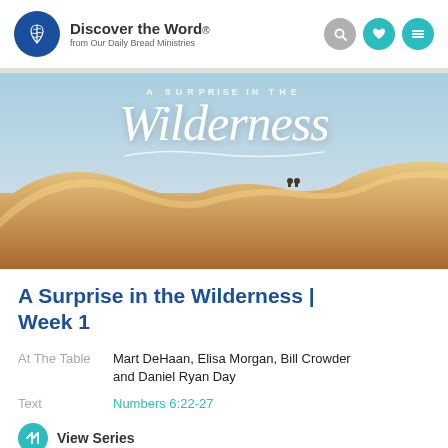Discover the Word. from Our Daily Bread Ministries
[Figure (photo): Desert dunes landscape with 'A Surprise in the Wilderness' script text overlay, two small figures visible on sand dune]
A Surprise in the Wilderness | Week 1
At The Table   Mart DeHaan, Elisa Morgan, Bill Crowder and Daniel Ryan Day
Text   Numbers 6:22-27
View Series